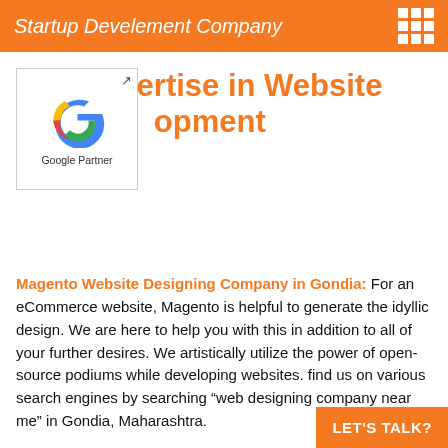Startup Develement Company
Our Expertise in Website Development
[Figure (logo): Google Partner logo with Google G icon and text 'Google Partner']
Magento Website Designing Company in Gondia: For an eCommerce website, Magento is helpful to generate the idyllic design. We are here to help you with this in addition to all of your further desires. We artistically utilize the power of open-source podiums while developing websites. find us on various search engines by searching "web designing company near me" in Gondia, Maharashtra.